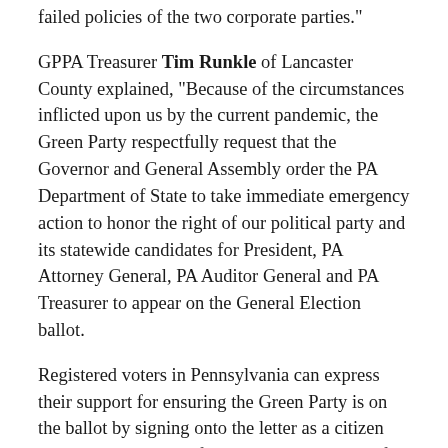failed policies of the two corporate parties."
GPPA Treasurer Tim Runkle of Lancaster County explained, "Because of the circumstances inflicted upon us by the current pandemic, the Green Party respectfully request that the Governor and General Assembly order the PA Department of State to take immediate emergency action to honor the right of our political party and its statewide candidates for President, PA Attorney General, PA Auditor General and PA Treasurer to appear on the General Election ballot.
Registered voters in Pennsylvania can express their support for ensuring the Green Party is on the ballot by signing onto the letter as a citizen endorser. For more information, including the full letter and how to sign, please see https://www.gpofpa.org/dont_let_covid_19_keep_greens_